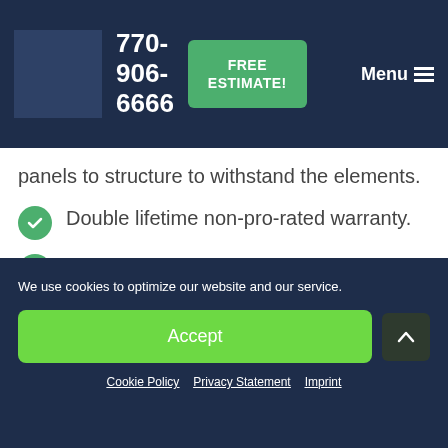770-906-6666  FREE ESTIMATE!  Menu
panels to structure to withstand the elements.
Double lifetime non-pro-rated warranty.
Available in XL and XXL extended lengths for fewer laps.
We use cookies to optimize our website and our service.
Accept
Cookie Policy   Privacy Statement   Imprint